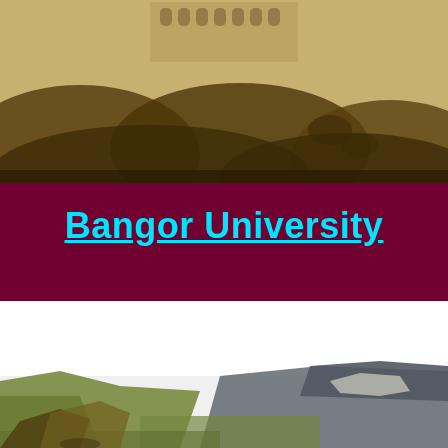[Figure (photo): Old stone building ruins or castle visible at top, with dark rocky hillside in foreground. Sepia/warm-toned historical photograph.]
Bangor University
[Figure (photo): Landscape photo showing green hills and rocky cliffs under a bright white sky. Coastal or rural Welsh countryside scene.]